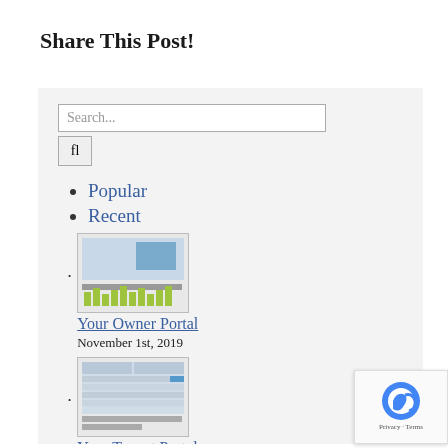Share This Post!
Popular
Recent
[Figure (screenshot): Thumbnail screenshot of the Your Owner Portal page showing a dashboard with chart]
Your Owner Portal
November 1st, 2019
[Figure (screenshot): Thumbnail screenshot of the Your Tenant Portal page]
Your Tenant Portal
November 1st, 2019
[Figure (photo): Photo of a woman sitting at a desk, partially visible]